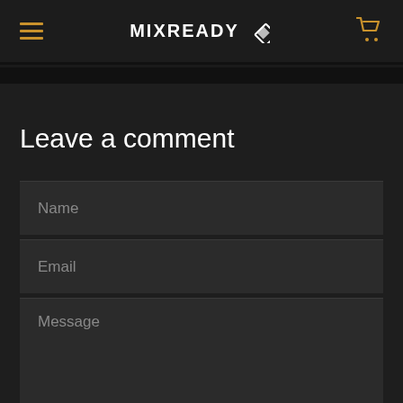MIXREADY
Leave a comment
Name
Email
Message